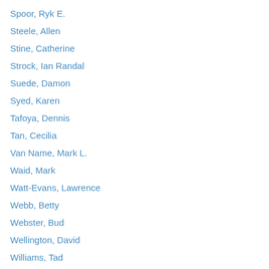Spoor, Ryk E.
Steele, Allen
Stine, Catherine
Strock, Ian Randal
Suede, Damon
Syed, Karen
Tafoya, Dennis
Tan, Cecilia
Van Name, Mark L.
Waid, Mark
Watt-Evans, Lawrence
Webb, Betty
Webster, Bud
Wellington, David
Williams, Tad
Wilson, Alyce
Wilson, David Niall
Wisoker, Leona
Wold, Allen